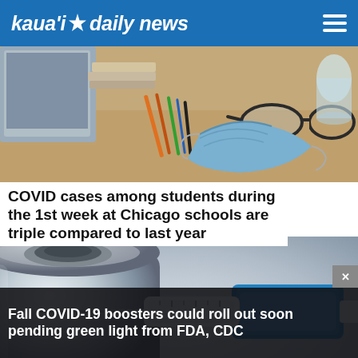kaua'i daily news
[Figure (photo): Desk scene with books, pencils, glasses, and a blue face mask on a wooden surface]
COVID cases among students during the 1st week at Chicago schools are triple compared to last year
[Figure (photo): Close-up of a vaccine vial with a syringe needle inserted, blurred background]
Fall COVID-19 boosters could roll out soon pending green light from FDA, CDC